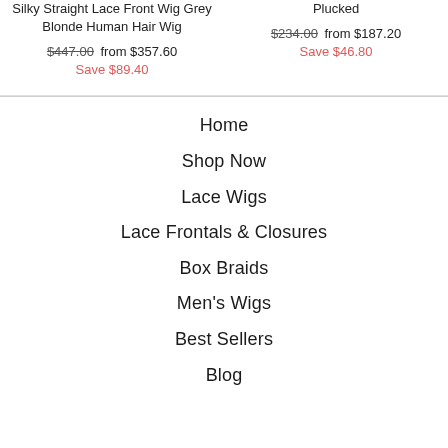Silky Straight Lace Front Wig Grey Blonde Human Hair Wig
$447.00  from $357.60
Save $89.40
Plucked
$234.00  from $187.20
Save $46.80
Home
Shop Now
Lace Wigs
Lace Frontals & Closures
Box Braids
Men's Wigs
Best Sellers
Blog